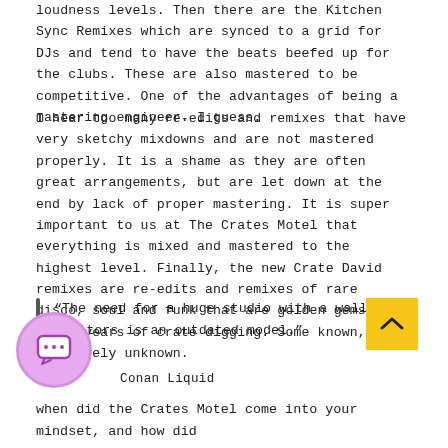loudness levels. Then there are the Kitchen Sync Remixes which are synced to a grid for DJs and tend to have the beats beefed up for the clubs. These are also mastered to be competitive. One of the advantages of being a mastering engineer. I guess.
I hear too many re-edits and remixes that have very sketchy mixdowns and are not mastered properly. It is a shame as they are often great arrangements, but are let down at the end by lack of proper mastering. It is super important to us at The Crates Motel that everything is mixed and mastered to the highest level. Finally, the new Crate David remixes are re-edits and remixes of rare disco, soul and funk that are golden gems from my 40 years of crate digging. Some known, some completely unknown.
“The need for a huge studio with a wall of monitors is an outdated model.”
Conan Liquid
when did the Crates Motel come into your mindset, and how did